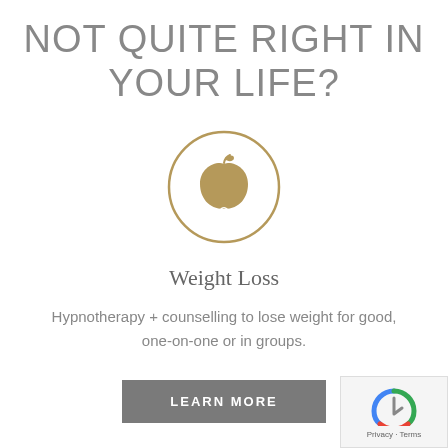NOT QUITE RIGHT IN YOUR LIFE?
[Figure (illustration): A circular icon with a tan/gold apple with a leaf, outlined by a thin circular border in the same tan/gold color.]
Weight Loss
Hypnotherapy + counselling to lose weight for good, one-on-one or in groups.
LEARN MORE